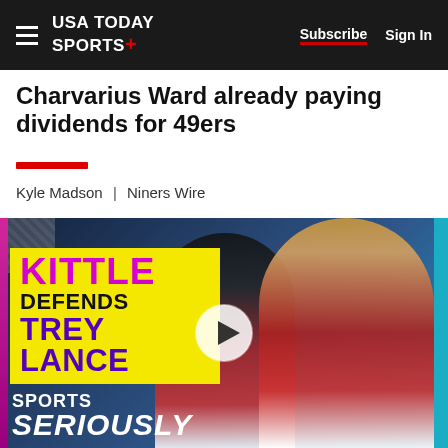USA TODAY SPORTS+   Subscribe  Sign In
Charvarius Ward already paying dividends for 49ers
Kyle Madson | Niners Wire
[Figure (screenshot): Video thumbnail showing two 49ers players with text overlay: KITTLE DEFENDS TREY LANCE. Bottom text: SPORTS SERIOUSLY]